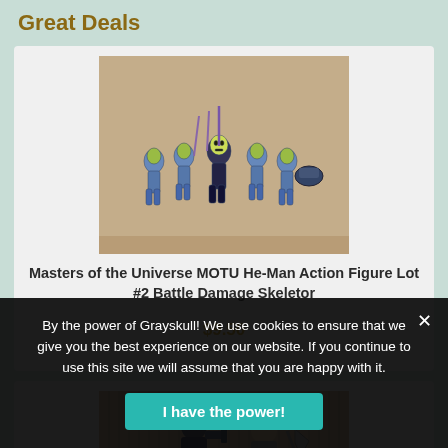Great Deals
[Figure (photo): Group of Masters of the Universe MOTU He-Man action figures including Battle Damage Skeletor variants, displayed on a wooden surface]
Masters of the Universe MOTU He-Man Action Figure Lot #2 Battle Damage Skeletor
$9.50
[Figure (photo): Two Masters of the Universe MOTU action figures including Skeletor with weapon accessories, posed against a wicker background]
By the power of Grayskull! We use cookies to ensure that we give you the best experience on our website. If you continue to use this site we will assume that you are happy with it.
I have the power!